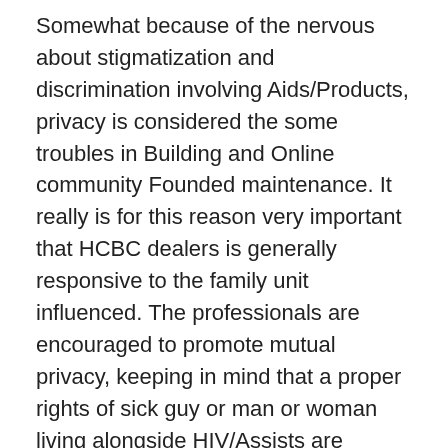Somewhat because of the nervous about stigmatization and discrimination involving Aids/Products, privacy is considered the some troubles in Building and Online community Founded maintenance. It really is for this reason very important that HCBC dealers is generally responsive to the family unit influenced. The professionals are encouraged to promote mutual privacy, keeping in mind that a proper rights of sick guy or man or woman living alongside HIV/Assists are reputed. (6) Client Opinions About The means to access Health Facts and techniques The literature treating persistent belief systems about authority to access health-related news positions numerous enquiries, in particular: 1) no matter whether people accept of the medical professionals posting healthcare critical information to many other medical professionals; 2) beneath what cases affected individuals would most likely sanction breaches of